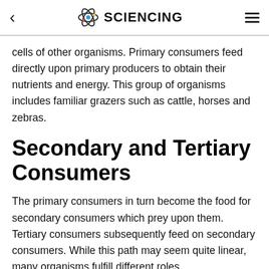< SCIENCING ≡
cells of other organisms. Primary consumers feed directly upon primary producers to obtain their nutrients and energy. This group of organisms includes familiar grazers such as cattle, horses and zebras.
Secondary and Tertiary Consumers
The primary consumers in turn become the food for secondary consumers which prey upon them. Tertiary consumers subsequently feed on secondary consumers. While this path may seem quite linear, many organisms fulfill different roles